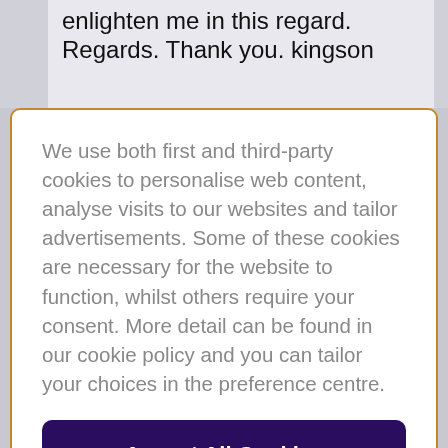enlighten me in this regard. Regards. Thank you. kingson
We use both first and third-party cookies to personalise web content, analyse visits to our websites and tailor advertisements. Some of these cookies are necessary for the website to function, whilst others require your consent. More detail can be found in our cookie policy and you can tailor your choices in the preference centre.
Accept All Cookies
Cookies Settings